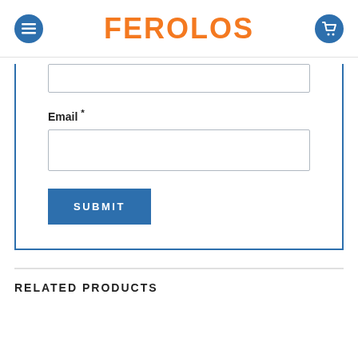FEROLOS
Email *
SUBMIT
RELATED PRODUCTS